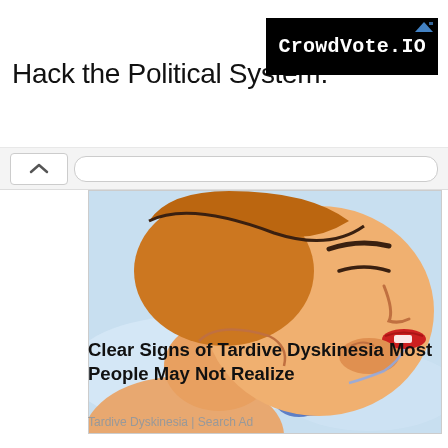[Figure (screenshot): Web page screenshot showing an advertisement banner at top reading 'Hack the Political System.' with a black CrowdVote.IO logo box, a navigation chevron bar, a medical illustration of a sleeping woman drooling (comic/cartoon style), article headline 'Clear Signs of Tardive Dyskinesia Most People May Not Realize', and source label 'Tardive Dyskinesia | Search Ad']
Hack the Political System.
CrowdVote.IO
Clear Signs of Tardive Dyskinesia Most People May Not Realize
Tardive Dyskinesia | Search Ad